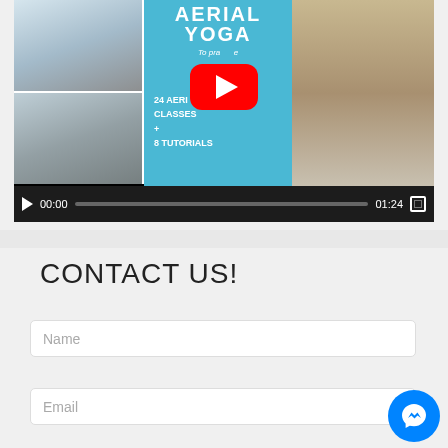[Figure (screenshot): Embedded video player showing an Aerial Yoga promotional video thumbnail with YouTube play button overlay and video controls showing 00:00 / 01:24 timecode]
CONTACT US!
[Figure (other): Contact form with Name and Email input fields, and a blue Facebook Messenger chat button in the bottom right corner]